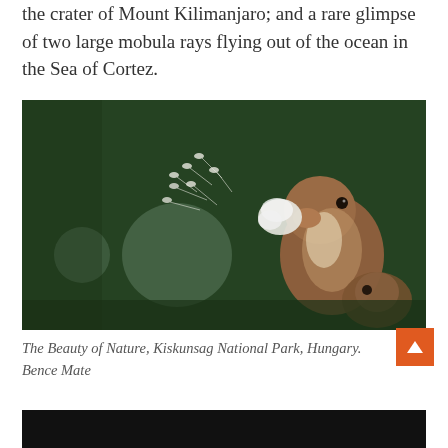the crater of Mount Kilimanjaro; and a rare glimpse of two large mobula rays flying out of the ocean in the Sea of Cortez.
[Figure (photo): A ground squirrel holding a dandelion seed head in its mouth, with dandelion seeds floating in the air against a dark green bokeh background. Another animal is partially visible in the lower right. Kiskunsag National Park, Hungary.]
The Beauty of Nature, Kiskunsag National Park, Hungary. Bence Mate
[Figure (photo): Partial view of another photograph at the bottom of the page, showing a dark scene.]